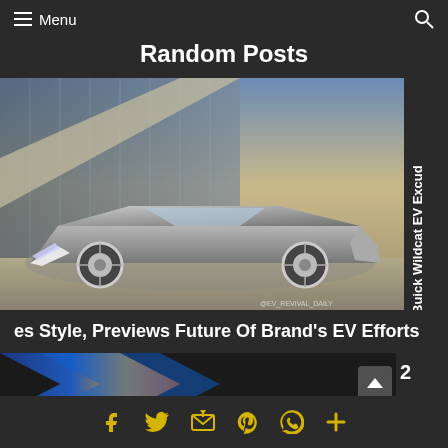Menu  [search]
Random Posts
[Figure (photo): Silver concept car (Buick Wildcat EV) parked in front of a building with glass facade, rendered in a futuristic style. Watermark: @EV_REVIVAL_DAILY]
Buick Wildcat EV Excludes Style, Previews Future Of Brand's EV Efforts
[Figure (photo): Partial view of a second article thumbnail with blue, yellow, and orange graphic/design elements. Number '2' visible on right side.]
Facebook  Twitter  Email  Pinterest  WhatsApp  Plus